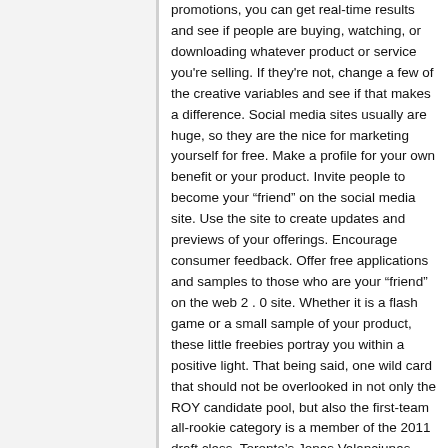promotions, you can get real-time results and see if people are buying, watching, or downloading whatever product or service you're selling. If they're not, change a few of the creative variables and see if that makes a difference. Social media sites usually are huge, so they are the nice for marketing yourself for free. Make a profile for your own benefit or your product. Invite people to become your “friend” on the social media site. Use the site to create updates and previews of your offerings. Encourage consumer feedback. Offer free applications and samples to those who are your “friend” on the web 2 . 0 site. Whether it is a flash game or a small sample of your product, these little freebies portray you within a positive light. That being said, one wild card that should not be overlooked in not only the ROY candidate pool, but also the first-team all-rookie category is a member of the 2011 draft class, Toronto’s Jonas Valanciunas. The prized Lithuanian will finally join the Raptors in 2012-13; and, after a phenomenal international basketball career, he could be the biggest